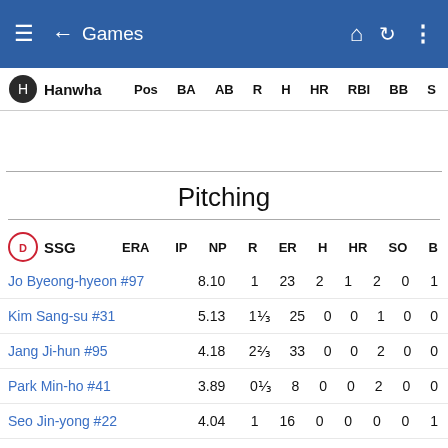Games
| Hanwha | Pos | BA | AB | R | H | HR | RBI | BB | S |
| --- | --- | --- | --- | --- | --- | --- | --- | --- | --- |
Pitching
| SSG | ERA | IP | NP | R | ER | H | HR | SO | B |
| --- | --- | --- | --- | --- | --- | --- | --- | --- | --- |
| Jo Byeong-hyeon #97 | 8.10 | 1 | 23 | 2 | 1 | 2 | 0 | 1 |  |
| Kim Sang-su #31 | 5.13 | 1 ⅓ | 25 | 0 | 0 | 1 | 0 | 0 |  |
| Jang Ji-hun #95 | 4.18 | 2 ⅔ | 33 | 0 | 0 | 2 | 0 | 0 |  |
| Park Min-ho #41 | 3.89 | 0 ⅓ | 8 | 0 | 0 | 2 | 0 | 0 |  |
| Seo Jin-yong #22 | 4.04 | 1 | 16 | 0 | 0 | 0 | 0 | 1 |  |
| Kim Tae-hoon #51 | 4.73 | 1 ⅓ | 19 | 1 | 1 | 2 | 1 | 0 |  |
| Kim Taek-hyeong #43 | 2.63 | 1 ⅓ | 25 | 1 | 1 | 1 | 0 | 1 |  |